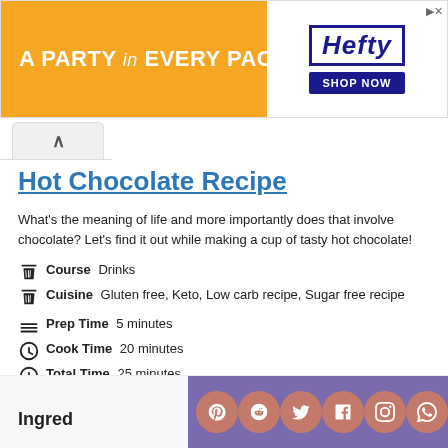[Figure (other): Hefty brand advertisement banner — orange background with 'A PARTY in EVERY PACK' text, Hefty party cup product image, Hefty logo, and SHOP NOW button]
Hot Chocolate Recipe
What's the meaning of life and more importantly does that involve chocolate? Let's find it out while making a cup of tasty hot chocolate!
Course  Drinks
Cuisine  Gluten free, Keto, Low carb recipe, Sugar free recipe
Prep Time  5 minutes
Cook Time  20 minutes
Total Time  25 minutes
Servings  2
Author  SunCakeMom
Ingred
[Figure (other): Social media sharing bar with Pinterest, Reddit, Twitter, Facebook, Instagram, WhatsApp, and email icons on purple background]